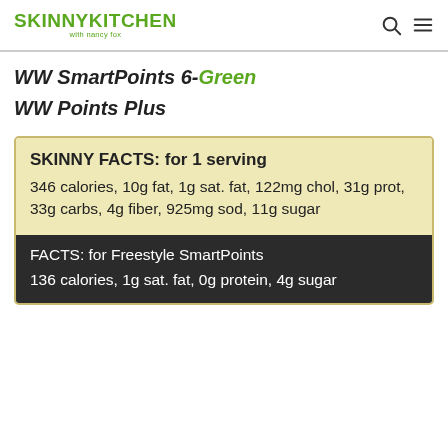SKINNY KITCHEN with nancy fox
WW SmartPoints 6-Green
WW Points Plus
SKINNY FACTS: for 1 serving
346 calories, 10g fat, 1g sat. fat, 122mg chol, 31g prot, 33g carbs, 4g fiber, 925mg sod, 11g sugar
FACTS: for Freestyle SmartPoints
136 calories, 1g sat. fat, 0g protein, 4g sugar